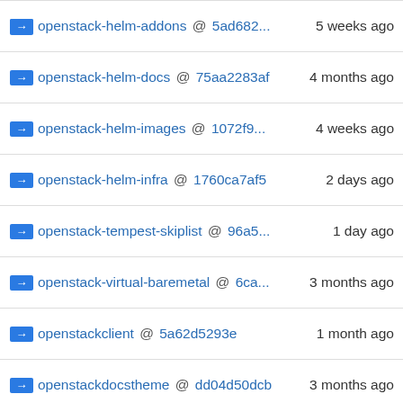openstack-helm-addons @ 5ad682... 5 weeks ago
openstack-helm-docs @ 75aa2283af 4 months ago
openstack-helm-images @ 1072f9... 4 weeks ago
openstack-helm-infra @ 1760ca7af5 2 days ago
openstack-tempest-skiplist @ 96a5... 1 day ago
openstack-virtual-baremetal @ 6ca... 3 months ago
openstackclient @ 5a62d5293e 1 month ago
openstackdocstheme @ dd04d50dcb 3 months ago
openstacksdk @ 9fa6603d4e 1 day ago
os-api-ref @ d3c6dd2c0c 4 months ago
os-apply-config @ 474068e487 11 months ago